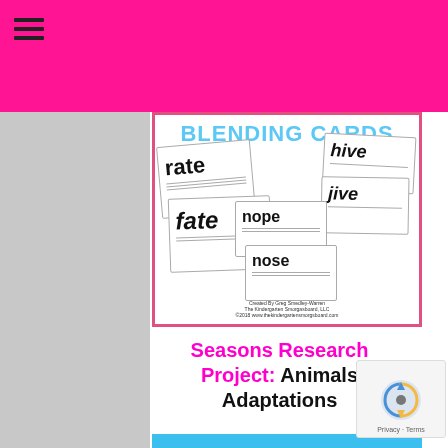Navigation menu (hamburger icon)
[Figure (illustration): Blending Cards educational product image showing flash cards with words: rate, fate, hive, jive, nope, nose. Title says BLENDING CARDS in blue. Created By Greg Smedley-Warren, The Kindergarten Smorgasboard, LLC]
Seasons Research Project: Animals Adaptations
[Figure (illustration): Bottom blue strip indicating next content section]